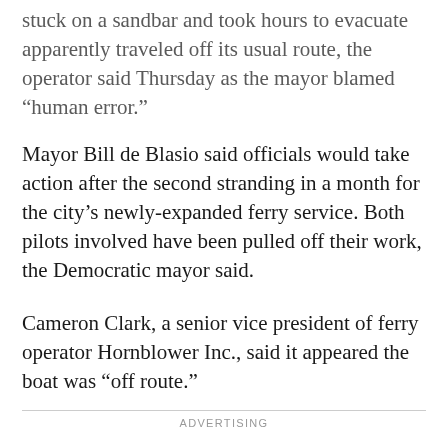stuck on a sandbar and took hours to evacuate apparently traveled off its usual route, the operator said Thursday as the mayor blamed “human error.”
Mayor Bill de Blasio said officials would take action after the second stranding in a month for the city’s newly-expanded ferry service. Both pilots involved have been pulled off their work, the Democratic mayor said.
Cameron Clark, a senior vice president of ferry operator Hornblower Inc., said it appeared the boat was “off route.”
ADVERTISING
“That’s something we’re looking into,” Clark said in